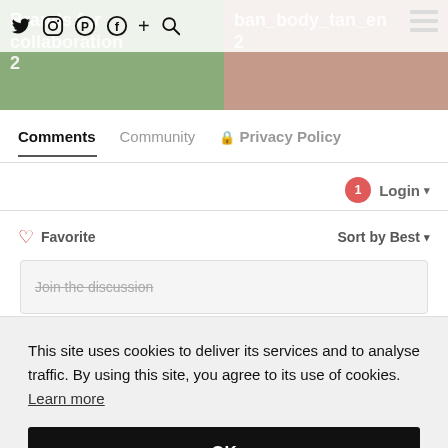[Figure (screenshot): Two thumbnail images side by side: left shows green/nature-toned image with text 'Brands for collaboration 2', right shows skin-toned image with text 'ban_body_tan_en 2', with hamburger menu icon]
Twitter Instagram Pinterest Facebook + Search icons in top bar
Comments  Community  🔒 Privacy Policy
1  Login ▾
♡ Favorite  Sort by Best ▾
Join the discussion
This site uses cookies to deliver its services and to analyse traffic. By using this site, you agree to its use of cookies.  Learn more
OK
Efia Sulter